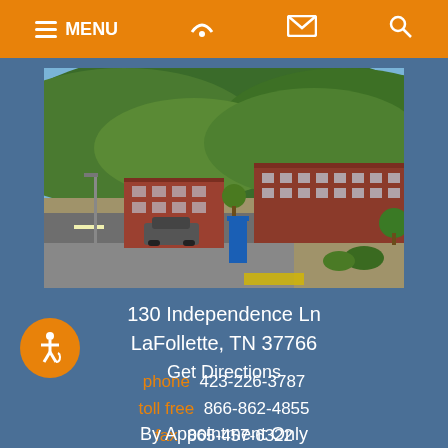MENU [phone] [email] [search]
[Figure (photo): Aerial/street view photograph of downtown LaFollette, TN showing red brick buildings, a main road, parking areas, and tree-covered hills in the background under a blue sky.]
130 Independence Ln
LaFollette, TN 37766
Get Directions
phone  423-226-3787
toll free  866-862-4855
fax  865-457-6322
By Appointment Only